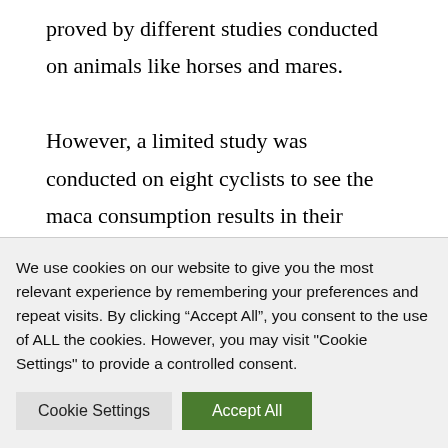proved by different studies conducted on animals like horses and mares.
However, a limited study was conducted on eight cyclists to see the maca consumption results in their performance. The findings of the study were supporting the fact that it increases endurance and performance. However, rigorous research must be
We use cookies on our website to give you the most relevant experience by remembering your preferences and repeat visits. By clicking “Accept All”, you consent to the use of ALL the cookies. However, you may visit "Cookie Settings" to provide a controlled consent.